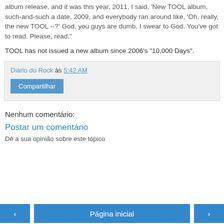album release, and it was this year, 2011, I said, 'New TOOL album, such-and-such a date, 2009, and everybody ran around like, 'Oh, really, the new TOOL --?' God, you guys are dumb. I swear to God. You've got to read. Please, read."
TOOL has not issued a new album since 2006's "10,000 Days".
Diário do Rock às 5:42 AM
Compartilhar
Nenhum comentário:
Postar um comentário
Dê a sua opinião sobre este tópico
‹  Página inicial  ›